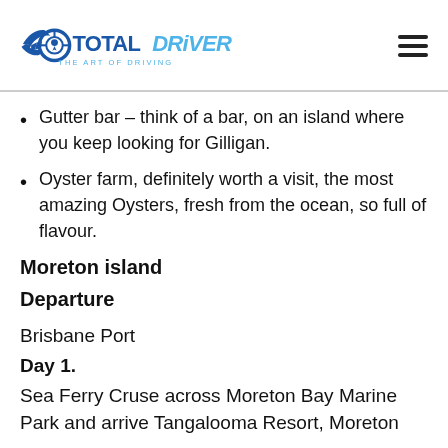TOTAL DRIVER - THE ART OF DRIVING
Gutter bar – think of a bar, on an island where you keep looking for Gilligan.
Oyster farm, definitely worth a visit, the most amazing Oysters, fresh from the ocean, so full of flavour.
Moreton island
Departure
Brisbane Port
Day 1.
Sea Ferry Cruse across Moreton Bay Marine Park and arrive Tangalooma Resort, Moreton